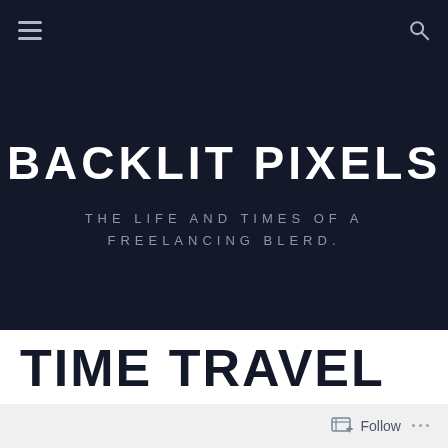Navigation bar with hamburger menu and search icon
BACKLIT PIXELS
THE LIFE AND TIMES OF A FREELANCING BLERD.
TIME TRAVEL
Follow ...